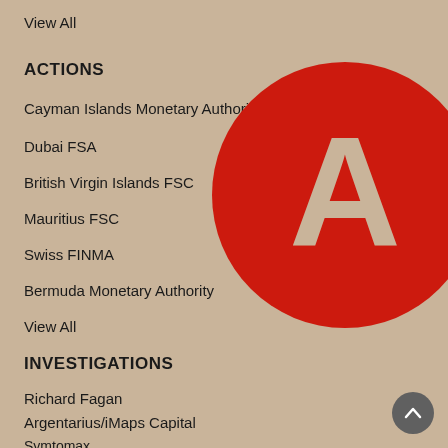View All
ACTIONS
Cayman Islands Monetary Authority
Dubai FSA
British Virgin Islands FSC
Mauritius FSC
Swiss FINMA
Bermuda Monetary Authority
View All
[Figure (logo): Large red circle with a white letter A in the center]
INVESTIGATIONS
Richard Fagan
Argentarius/iMaps Capital
Symtomax
Arbitrade/Dignity Gold
Swan Group